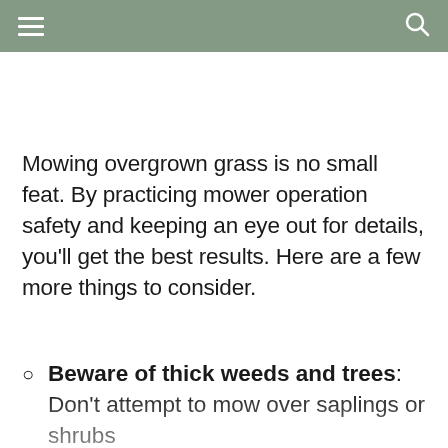☰  🔍
Mowing overgrown grass is no small feat. By practicing mower operation safety and keeping an eye out for details, you'll get the best results. Here are a few more things to consider.
Beware of thick weeds and trees: Don't attempt to mow over saplings or shrubs thicker than your thumb. You can damage your mower blade. It's best to cut these off
thicker than your thumb. You can damage your mower blade. It's best to cut these off